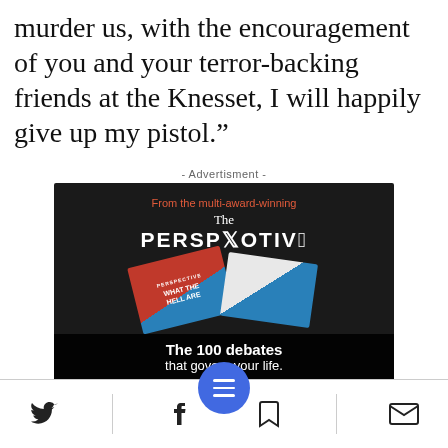murder us, with the encouragement of you and your terror-backing friends at the Knesset, I will happily give up my pistol.”
- Advertisment -
[Figure (photo): Advertisement for 'The Perspective' book by Daniel Ravner, showing book covers and text: 'From the multi-award-winning', 'The PERSPECTIVE', 'WHAT THE HELL ARE...', 'The 100 debates that govern your life.', 'Available on Amazon']
Social share bar with Twitter, Facebook, menu, bookmark, and email icons